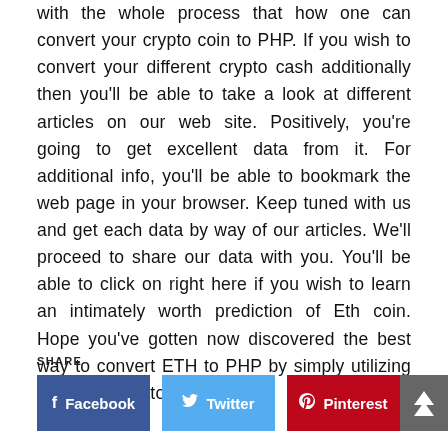with the whole process that how one can convert your crypto coin to PHP. If you wish to convert your different crypto cash additionally then you'll be able to take a look at different articles on our web site. Positively, you're going to get excellent data from it. For additional info, you'll be able to bookmark the web page in your browser. Keep tuned with us and get each data by way of our articles. We'll proceed to share our data with you. You'll be able to click on right here if you wish to learn an intimately worth prediction of Eth coin. Hope you've gotten now discovered the best way to convert ETH to PHP by simply utilizing a easy calculator.
SHARE
[Figure (other): Social share buttons: Facebook (blue), Twitter (light blue), Pinterest (red), and a scroll-to-top button (grey with double up arrows)]